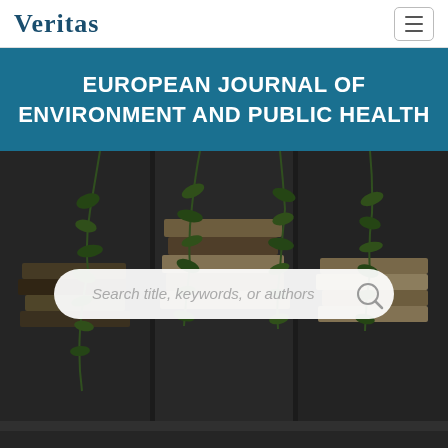Veritas
EUROPEAN JOURNAL OF ENVIRONMENT AND PUBLIC HEALTH
[Figure (screenshot): Hero image showing stacked books and hanging green plants against a dark background, with a rounded search bar overlay reading 'Search title, keywords, or authors']